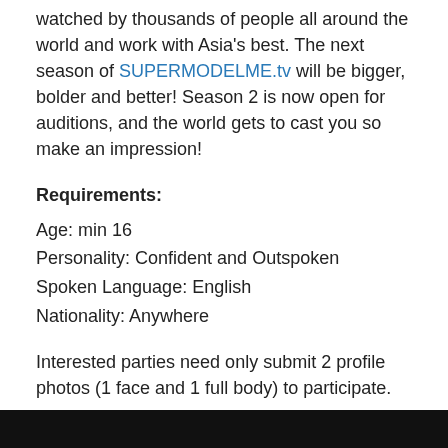watched by thousands of people all around the world and work with Asia's best. The next season of SUPERMODELME.tv will be bigger, bolder and better! Season 2 is now open for auditions, and the world gets to cast you so make an impression!
Requirements:
Age: min 16
Personality: Confident and Outspoken
Spoken Language: English
Nationality: Anywhere
Interested parties need only submit 2 profile photos (1 face and 1 full body) to participate.
Closing Date: February 28th, 2010
[Figure (other): Black bar at bottom of page]